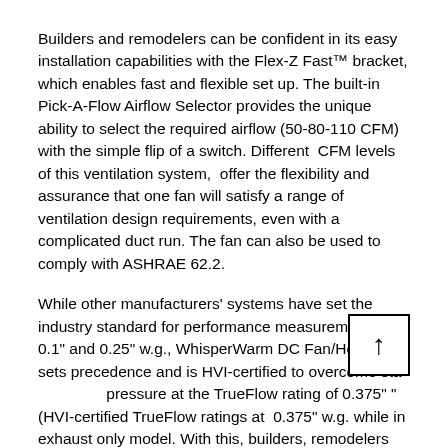Builders and remodelers can be confident in its easy installation capabilities with the Flex-Z Fast™ bracket, which enables fast and flexible set up. The built-in Pick-A-Flow Airflow Selector provides the unique ability to select the required airflow (50-80-110 CFM) with the simple flip of a switch. Different  CFM levels of this ventilation system,  offer the flexibility and assurance that one fan will satisfy a range of ventilation design requirements, even with a complicated duct run. The fan can also be used to comply with ASHRAE 62.2.
While other manufacturers' systems have set the industry standard for performance measurement at 0.1" and 0.25" w.g., WhisperWarm DC Fan/Heater sets precedence and is HVI-certified to overcome static pressure at the TrueFlow rating of 0.375" "(HVI-certified TrueFlow ratings at  0.375" w.g. while in exhaust only model. With this, builders, remodelers